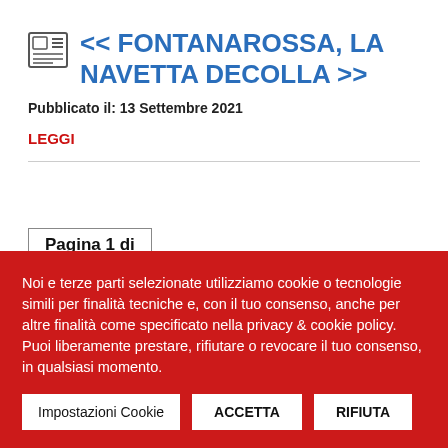<< FONTANAROSSA, LA NAVETTA DECOLLA >>
Pubblicato il: 13 Settembre 2021
LEGGI
Pagina 1 di
Noi e terze parti selezionate utilizziamo cookie o tecnologie simili per finalità tecniche e, con il tuo consenso, anche per altre finalità come specificato nella privacy & cookie policy.
Puoi liberamente prestare, rifiutare o revocare il tuo consenso, in qualsiasi momento.
Impostazioni Cookie | ACCETTA | RIFIUTA